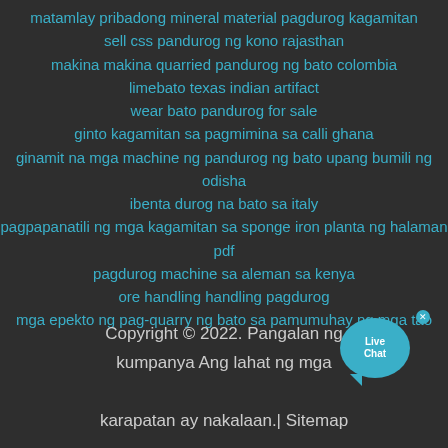matamlay pribadong mineral material pagdurog kagamitan
sell css pandurog ng kono rajasthan
makina makina quarried pandurog ng bato colombia
limebato texas indian artifact
wear bato pandurog for sale
ginto kagamitan sa pagmimina sa calli ghana
ginamit na mga machine ng pandurog ng bato upang bumili ng odisha
ibenta durog na bato sa italy
pagpapanatili ng mga kagamitan sa sponge iron planta ng halaman pdf
pagdurog machine sa aleman sa kenya
ore handling handling pagdurog
mga epekto ng pag-quarry ng bato sa pamumuhay ng mga tao
[Figure (other): Live Chat button widget — blue circular speech bubble with 'Live Chat' text and a close (x) button]
Copyright © 2022. Pangalan ng kumpanya Ang lahat ng mga karapatan ay nakalaan.| Sitemap